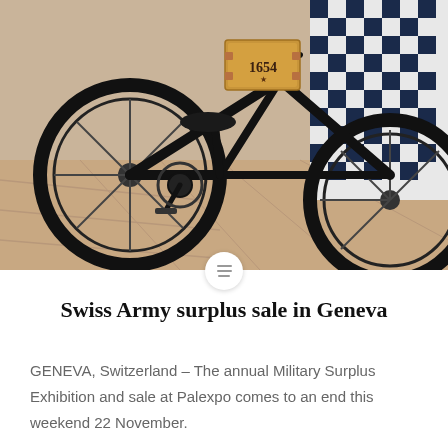[Figure (photo): Close-up photograph of a vintage black military bicycle with a wooden box mounted on the frame marked '1654', a black leather seat, and a black-and-white checkered bag/saddlebag on the right side. The bicycle is displayed on a wooden floor.]
Swiss Army surplus sale in Geneva
GENEVA, Switzerland – The annual Military Surplus Exhibition and sale at Palexpo comes to an end this weekend 22 November.